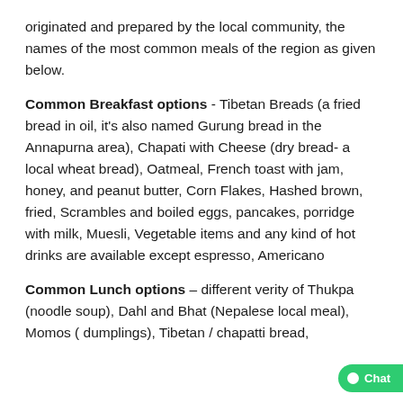originated and prepared by the local community, the names of the most common meals of the region as given below.
Common Breakfast options - Tibetan Breads (a fried bread in oil, it's also named Gurung bread in the Annapurna area), Chapati with Cheese (dry bread- a local wheat bread), Oatmeal, French toast with jam, honey, and peanut butter, Corn Flakes, Hashed brown, fried, Scrambles and boiled eggs, pancakes, porridge with milk, Muesli, Vegetable items and any kind of hot drinks are available except espresso, Americano
Common Lunch options – different verity of Thukpa (noodle soup), Dahl and Bhat (Nepalese local meal), Momos ( dumplings), Tibetan / chapatti bread,